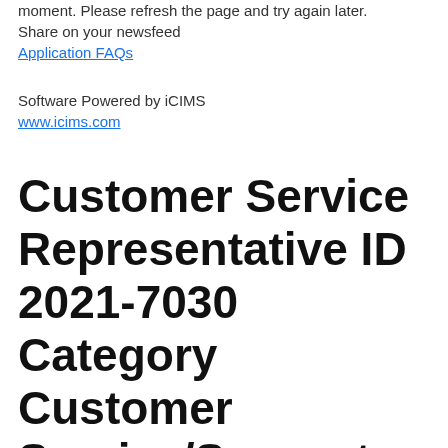moment. Please refresh the page and try again later. Share on your newsfeed
Application FAQs
Software Powered by iCIMS
www.icims.com
Customer Service Representative ID 2021-7030 Category Customer Service/Support Position Type Regular Full-Time